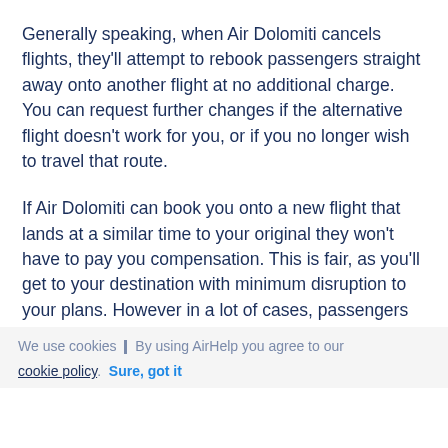Generally speaking, when Air Dolomiti cancels flights, they'll attempt to rebook passengers straight away onto another flight at no additional charge. You can request further changes if the alternative flight doesn't work for you, or if you no longer wish to travel that route.
If Air Dolomiti can book you onto a new flight that lands at a similar time to your original they won't have to pay you compensation. This is fair, as you'll get to your destination with minimum disruption to your plans. However in a lot of cases, passengers whose flights are canceled at the last minute have
We use cookies | By using AirHelp you agree to our cookie policy. Sure, got it